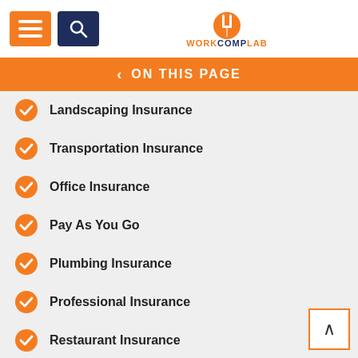[Figure (logo): WorkCompLab logo with orange icon and text]
ON THIS PAGE
Landscaping Insurance
Transportation Insurance
Office Insurance
Pay As You Go
Plumbing Insurance
Professional Insurance
Restaurant Insurance
Retail Insurance
Roofing Insurance
Staffing Insurance